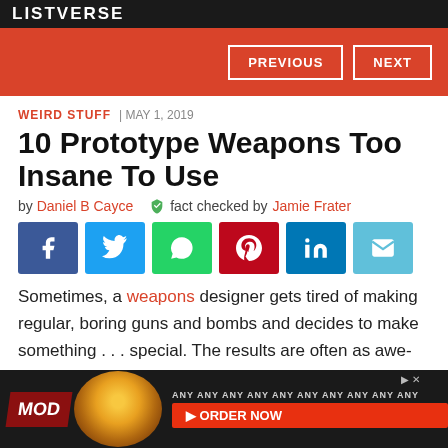LISTVERSE
[Figure (screenshot): Red navigation bar with PREVIOUS and NEXT buttons]
WEIRD STUFF | MAY 1, 2019
10 Prototype Weapons Too Insane To Use
by Daniel B Cayce   fact checked by Jamie Frater
[Figure (infographic): Social share buttons: Facebook, Twitter, WhatsApp, Pinterest, LinkedIn, Email]
Sometimes, a weapons designer gets tired of making regular, boring guns and bombs and decides to make something . . . special. The results are often as awe-inspiring as they are utterly wacky.
[Figure (photo): MOD Pizza advertisement banner with pizza image and ORDER NOW button]
The fo...produ...